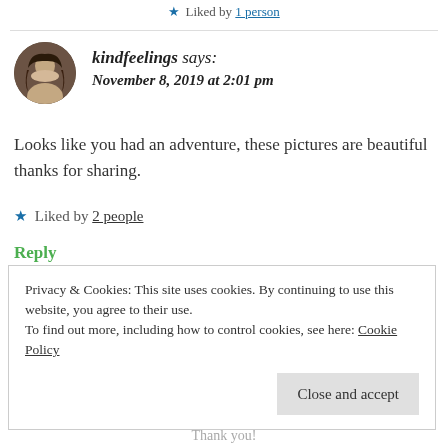★ Liked by 1 person
kindfeelings says:
November 8, 2019 at 2:01 pm
Looks like you had an adventure, these pictures are beautiful thanks for sharing.
★ Liked by 2 people
Reply
Privacy & Cookies: This site uses cookies. By continuing to use this website, you agree to their use.
To find out more, including how to control cookies, see here: Cookie Policy
Close and accept
Thank you!